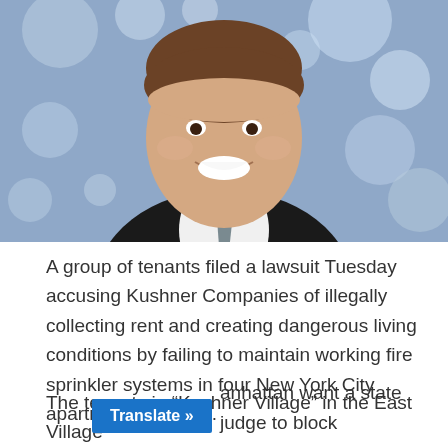[Figure (photo): Portrait photo of a smiling man in a dark suit and grey tie against a blurred blue-grey bokeh background]
A group of tenants filed a lawsuit Tuesday accusing Kushner Companies of illegally collecting rent and creating dangerous living conditions by failing to maintain working fire sprinkler systems in four New York City apartment buildings.
The tenants in “Kushner Village” in the East Village [manhattan want a state judge to block